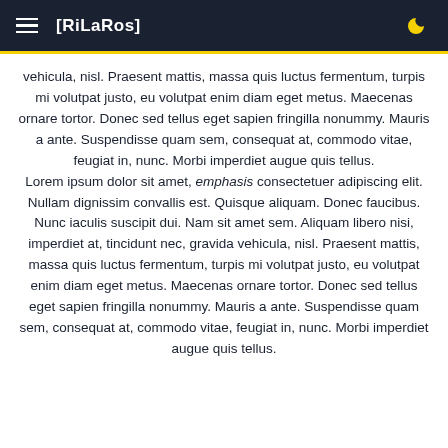[RiLaRos]
vehicula, nisl. Praesent mattis, massa quis luctus fermentum, turpis mi volutpat justo, eu volutpat enim diam eget metus. Maecenas ornare tortor. Donec sed tellus eget sapien fringilla nonummy. Mauris a ante. Suspendisse quam sem, consequat at, commodo vitae, feugiat in, nunc. Morbi imperdiet augue quis tellus.
Lorem ipsum dolor sit amet, emphasis consectetuer adipiscing elit. Nullam dignissim convallis est. Quisque aliquam. Donec faucibus. Nunc iaculis suscipit dui. Nam sit amet sem. Aliquam libero nisi, imperdiet at, tincidunt nec, gravida vehicula, nisl. Praesent mattis, massa quis luctus fermentum, turpis mi volutpat justo, eu volutpat enim diam eget metus. Maecenas ornare tortor. Donec sed tellus eget sapien fringilla nonummy. Mauris a ante. Suspendisse quam sem, consequat at, commodo vitae, feugiat in, nunc. Morbi imperdiet augue quis tellus.